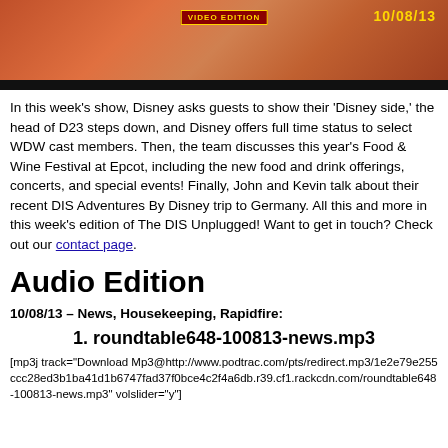[Figure (photo): Video edition banner image with orange/red background, 'VIDEO EDITION' badge, and date '10/08/13' in gold text, with black bar at bottom]
In this week's show, Disney asks guests to show their 'Disney side,' the head of D23 steps down, and Disney offers full time status to select WDW cast members. Then, the team discusses this year's Food & Wine Festival at Epcot, including the new food and drink offerings, concerts, and special events! Finally, John and Kevin talk about their recent DIS Adventures By Disney trip to Germany. All this and more in this week's edition of The DIS Unplugged! Want to get in touch? Check out our contact page.
Audio Edition
10/08/13 – News, Housekeeping, Rapidfire:
1. roundtable648-100813-news.mp3
[mp3j track="Download Mp3@http://www.podtrac.com/pts/redirect.mp3/1e2e79e255ccc28ed3b1ba41d1b6747fad37f0bce4c2f4a6db.r39.cf1.rackcdn.com/roundtable648-100813-news.mp3" volslider="y"]